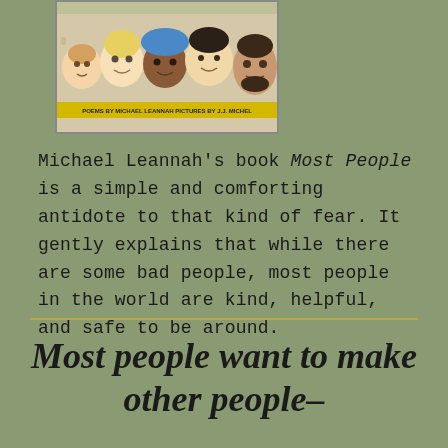[Figure (illustration): Book cover of 'Most People' by Michael Leannah, illustrated by J.J. Michel, showing diverse illustrated faces of people from various backgrounds and ages.]
Michael Leannah's book Most People is a simple and comforting antidote to that kind of fear. It gently explains that while there are some bad people, most people in the world are kind, helpful, and safe to be around.
Most people want to make other people–